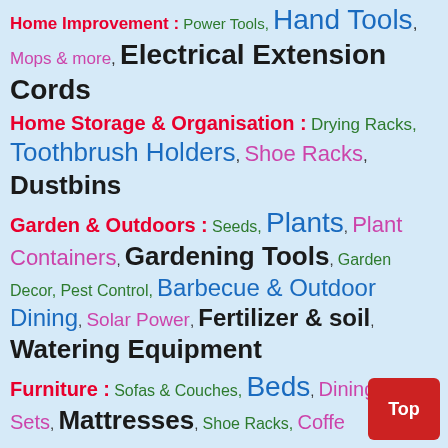Home Improvement : Power Tools, Hand Tools, Mops & more, Electrical Extension Cords
Home Storage & Organisation : Drying Racks, Toothbrush Holders, Shoe Racks, Dustbins
Garden & Outdoors : Seeds, Plants, Plant Containers, Gardening Tools, Garden Decor, Pest Control, Barbecue & Outdoor Dining, Solar Power, Fertilizer & soil, Watering Equipment
Furniture : Sofas & Couches, Beds, Dining Table Sets, Mattresses, Shoe Racks, Coffee...